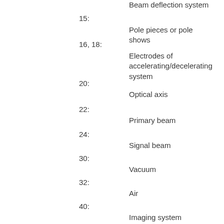Beam deflection system
15: Pole pieces or pole shows
16, 18: Electrodes of accelerating/decelerating system
20: Optical axis
22: Primary beam
24: Signal beam
30: Vacuum
32: Air
40: Imaging system
41: Deflector
42: Scintillator / particle detector / sensitive region